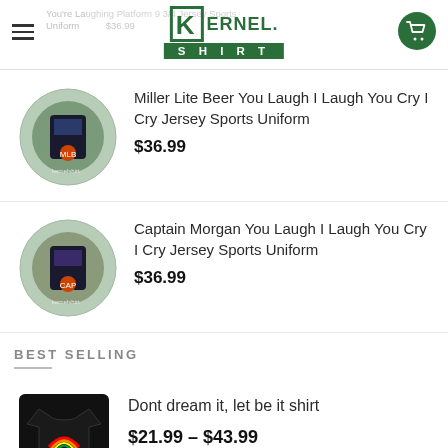Kernel Shirt — navigation header with logo and cart
You're Laughing Platform 9 3/4 Jersey Sports Uniform $36.99
Miller Lite Beer You Laugh I Laugh You Cry I Cry Jersey Sports Uniform — $36.99
Captain Morgan You Laugh I Laugh You Cry I Cry Jersey Sports Uniform — $36.99
BEST SELLING
Dont dream it, let be it shirt — $21.99 – $43.99
Lord Of The Rings Gandalf Vs Balrog Starry Night Van Gogh Poster